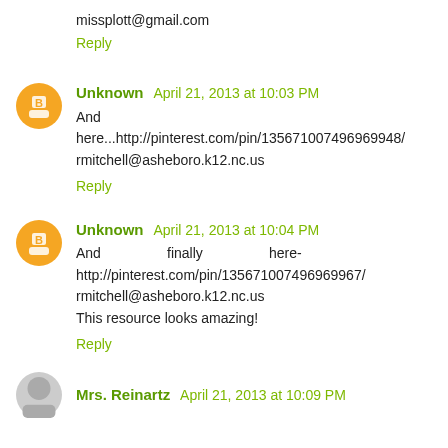missplott@gmail.com
Reply
Unknown  April 21, 2013 at 10:03 PM
And here...http://pinterest.com/pin/135671007496969948/
rmitchell@asheboro.k12.nc.us
Reply
Unknown  April 21, 2013 at 10:04 PM
And                    finally                    here-http://pinterest.com/pin/135671007496969967/
rmitchell@asheboro.k12.nc.us
This resource looks amazing!
Reply
Mrs. Reinartz  April 21, 2013 at 10:09 PM